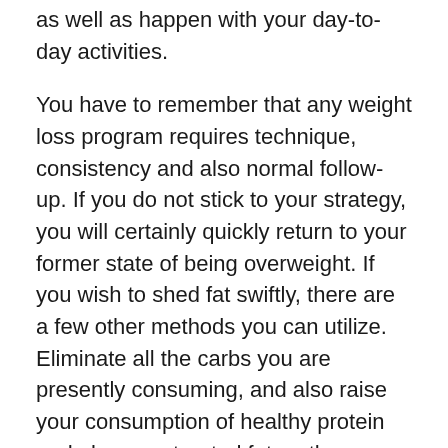as well as happen with your day-to-day activities.
You have to remember that any weight loss program requires technique, consistency and also normal follow-up. If you do not stick to your strategy, you will certainly quickly return to your former state of being overweight. If you wish to shed fat swiftly, there are a few other methods you can utilize. Eliminate all the carbs you are presently consuming, and also raise your consumption of healthy protein and also unsaturated fats rather. These kinds of changes will aid you jumpstart your fat loss process, however to get long-lasting advantages, these changes need to be accompanied by regular exercise.